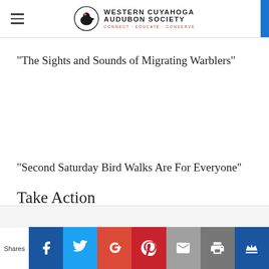Western Cuyahoga Audubon Society — CONNECT · EDUCATE · CONSERVE
"The Sights and Sounds of Migrating Warblers"
"Second Saturday Bird Walks Are For Everyone"
Take Action
Help Protect the Migratory Bird Treaty Act (MBTA)
Albatross and Petrels Need Our Help
Shares | Facebook | Twitter | Google+ | Pinterest | Email | Print | Crown